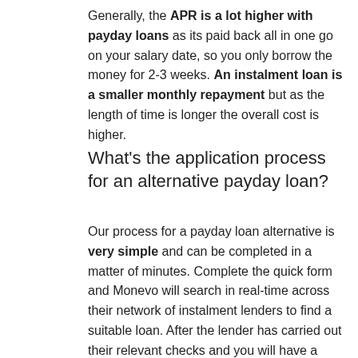Generally, the APR is a lot higher with payday loans as its paid back all in one go on your salary date, so you only borrow the money for 2-3 weeks. An instalment loan is a smaller monthly repayment but as the length of time is longer the overall cost is higher.
What's the application process for an alternative payday loan?
Our process for a payday loan alternative is very simple and can be completed in a matter of minutes. Complete the quick form and Monevo will search in real-time across their network of instalment lenders to find a suitable loan. After the lender has carried out their relevant checks and you will have a final decision. Also remember our service is free. We do receive a fee or commission should you be approved for a loan. This doesn't affect your deal. it also doesn't matter if you get paid weekly or monthly because this is not a traditional payday loan, you will not be required to pay the whole thing